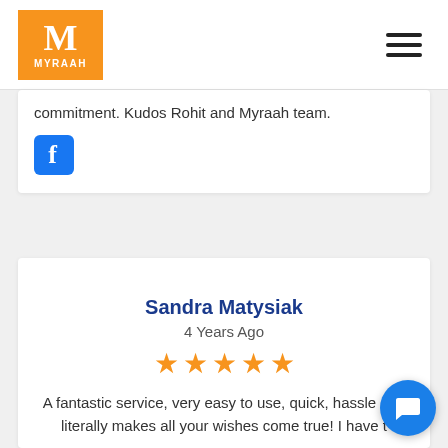MYRAAH
commitment. Kudos Rohit and Myraah team.
[Figure (logo): Facebook logo icon - blue square with white F]
Sandra Matysiak
4 Years Ago
[Figure (other): 5 orange star rating icons]
A fantastic service, very easy to use, quick, hassle and literally makes all your wishes come true! I have t